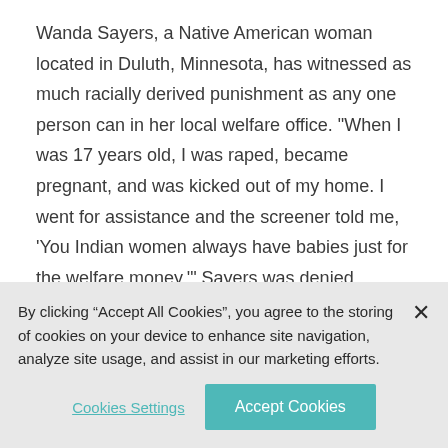Wanda Sayers, a Native American woman located in Duluth, Minnesota, has witnessed as much racially derived punishment as any one person can in her local welfare office. "When I was 17 years old, I was raped, became pregnant, and was kicked out of my home. I went for assistance and the screener told me, 'You Indian women always have babies just for the welfare money.'" Sayers was denied assistance and was told that, since she wasn't 18 or emancipated, she
By clicking “Accept All Cookies”, you agree to the storing of cookies on your device to enhance site navigation, analyze site usage, and assist in our marketing efforts.